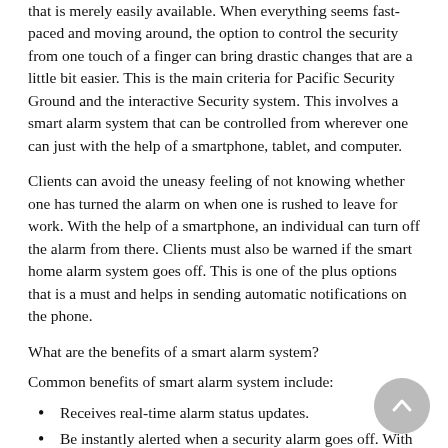that is merely easily available. When everything seems fast-paced and moving around, the option to control the security from one touch of a finger can bring drastic changes that are a little bit easier. This is the main criteria for Pacific Security Ground and the interactive Security system. This involves a smart alarm system that can be controlled from wherever one can just with the help of a smartphone, tablet, and computer.
Clients can avoid the uneasy feeling of not knowing whether one has turned the alarm on when one is rushed to leave for work. With the help of a smartphone, an individual can turn off the alarm from there. Clients must also be warned if the smart home alarm system goes off. This is one of the plus options that is a must and helps in sending automatic notifications on the phone.
What are the benefits of a smart alarm system?
Common benefits of smart alarm system include:
Receives real-time alarm status updates.
Be instantly alerted when a security alarm goes off. With push notifications.
Receive direct notifications when a member of the household arrives home.